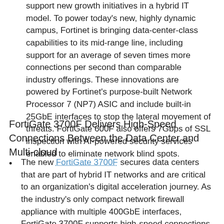support new growth initiatives in a hybrid IT model. To power today's new, highly dynamic campus, Fortinet is bringing data-center-class capabilities to its mid-range line, including support for an average of seven times more connections per second than comparable industry offerings. These innovations are powered by Fortinet's purpose-built Network Processor 7 (NP7) ASIC and include built-in 25GbE interfaces to stop the lateral movement of threats. FortiGate 600F also offers 7Gbps of SSL inspection with AI-powered security services enabled to eliminate network blind spots.
FortiGate 3700F Delivers High-Speed Connections Between the Data Center and Multi-cloud
The new FortiGate 3700F secures data centers that are part of hybrid IT networks and are critical to an organization's digital acceleration journey. As the industry's only compact network firewall appliance with multiple 400GbE interfaces, FortiGate 3700F supports high-speed connections between the data center and multi-clouds to deliver an optimal digital